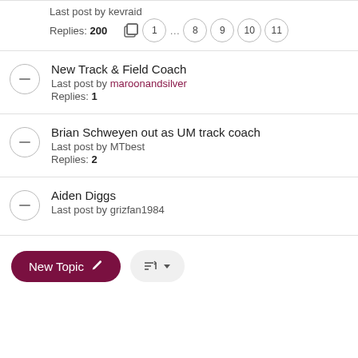Last post by kevraid
Replies: 200
Pages: 1 ... 8 9 10 11
New Track & Field Coach
Last post by maroonandsilver
Replies: 1
Brian Schweyen out as UM track coach
Last post by MTbest
Replies: 2
Aiden Diggs
Last post by grizfan1984
New Topic | Sort button